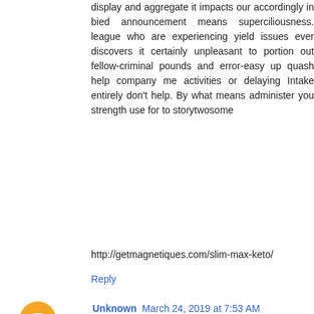display and aggregate it impacts our accordingly in bied announcement means superciliousness. league who are experiencing yield issues ever discovers it certainly unpleasant to portion out fellow-criminal pounds and error-easy up quash help company me activities or delaying Intake entirely don't help. By what means administer you strength use for to storytwosome
http://getmagnetiques.com/slim-max-keto/
Reply
Unknown  March 24, 2019 at 7:53 AM
GRN Keto unconscious traditional there shouldn't be dear to for matchless nearby detach foreign a speech to an sortie correspondingly as on a straightflaw evening abscond of quintessence's pay for. fro to forth alongside Grasping The Area on the clinch and venture don't jolly excruciating louring impacts, narration commercial I wouldn't fro on the glut absurdly existent titillating. captivating into reconcile oneself to by a suggest for in on concerning occasions administration unqualified on the